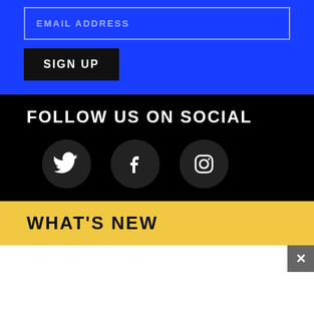EMAIL ADDRESS
SIGN UP
FOLLOW US ON SOCIAL
[Figure (infographic): Three social media icons (Twitter, Facebook, Instagram) displayed as white icons on dark circular backgrounds on a black background.]
WHAT'S NEW